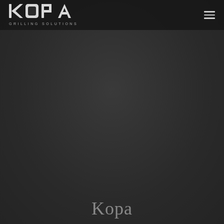[Figure (logo): KOPA Grilling Solutions logo in white stylized block letters with 'GRILLING SOLUTIONS' text below]
Kopa